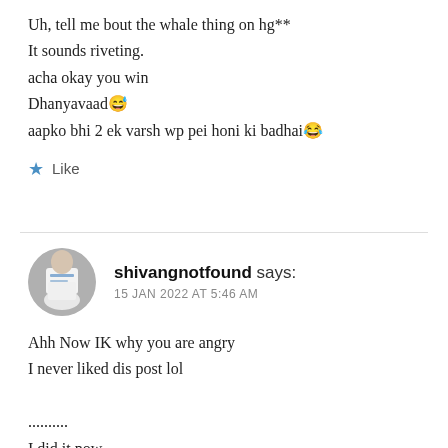Uh, tell me bout the whale thing on hg**
It sounds riveting.
acha okay you win
Dhanyavaad😅
aapko bhi 2 ek varsh wp pei honi ki badhai😂
★ Like
shivangnotfound says:
15 JAN 2022 AT 5:46 AM
Ahh Now IK why you are angry
I never liked dis post lol

..........
I did it now ....